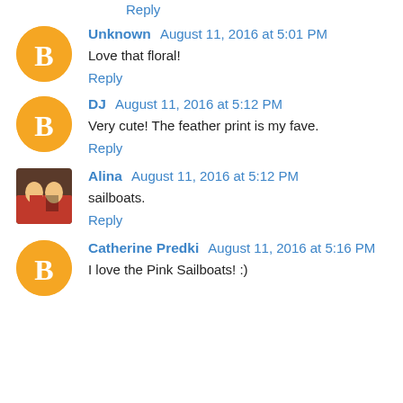Reply
Unknown  August 11, 2016 at 5:01 PM
Love that floral!
Reply
DJ  August 11, 2016 at 5:12 PM
Very cute! The feather print is my fave.
Reply
Alina  August 11, 2016 at 5:12 PM
sailboats.
Reply
Catherine Predki  August 11, 2016 at 5:16 PM
I love the Pink Sailboats! :)